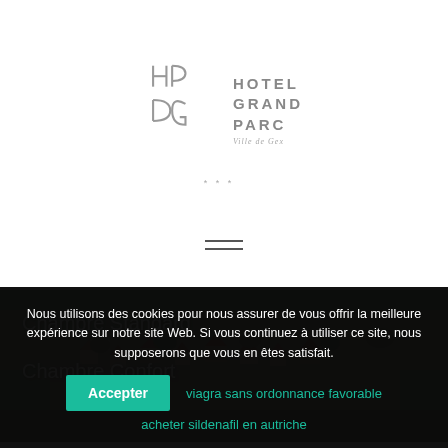[Figure (logo): Hotel Grand Parc logo with stylized H, P, D, G letters in grey and text 'HOTEL GRAND PARC Ville de Gex' with three stars]
[Figure (other): Hamburger menu icon with three horizontal lines]
[Figure (photo): Aerial photo of a village with red-roofed houses surrounded by green fields and trees]
Chambre Standard
Chambre Confort
Nous utilisons des cookies pour nous assurer de vous offrir la meilleure expérience sur notre site Web. Si vous continuez à utiliser ce site, nous supposerons que vous en êtes satisfait.
Accepter
viagra sans ordonnance favorable
acheter sildenafil en autriche